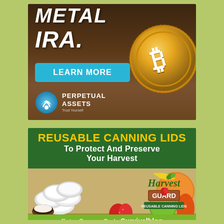[Figure (illustration): Top advertisement for Perpetual Assets Metal IRA showing partial text 'METAL IRA.' in large white bold italic font, a cyan 'LEARN MORE' button, Perpetual Assets logo, and a gold Bitcoin coin on dark brown background]
[Figure (illustration): Bottom advertisement for Harvest Guard Reusable Canning Lids showing dark green header with yellow text 'REUSABLE CANNING LIDS' and white text 'TO PROTECT AND PRESERVE YOUR HARVEST', white canning lids among fruits, Harvest Guard logo, and green bar with 'Enter Coupon Code Survivalblog']